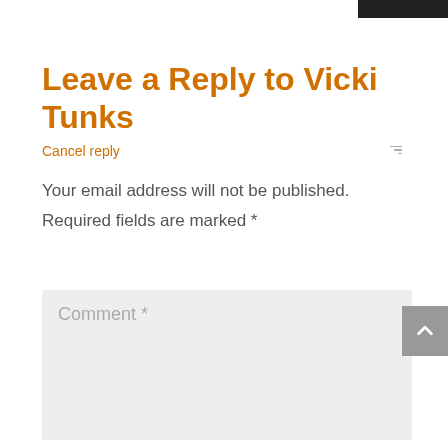Leave a Reply to Vicki Tunks
Cancel reply
Your email address will not be published.
Required fields are marked *
[Figure (screenshot): Comment text area input field with placeholder text 'Comment *' and a scroll-to-top button on the right side]